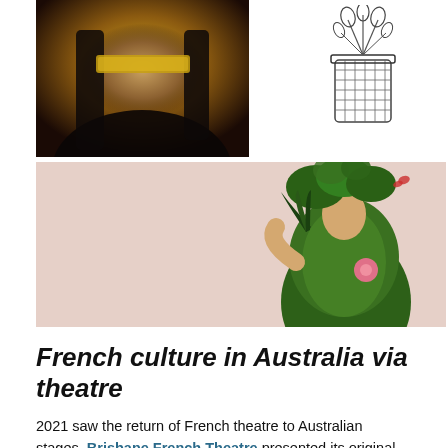[Figure (photo): Top-left photo of a woman with golden mask/blindfold against a yellow-gold background, shown from shoulders up with dark hair]
[Figure (illustration): Top-right sketch/line drawing of a potted plant or basket-like container with plants]
[Figure (photo): Wide pink-background banner image featuring a person in an elaborate green costume with leaves/plants on their head, holding a green fan, wearing a pink flower, in an artistic theatrical style]
French culture in Australia via theatre
2021 saw the return of French theatre to Australian stages. Brisbane French Theatre presented its original